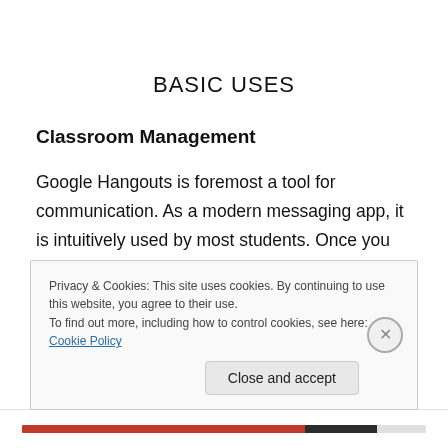BASIC USES
Classroom Management
Google Hangouts is foremost a tool for communication. As a modern messaging app, it is intuitively used by most students. Once you create a group, your students have access to their peers in a unique way that you can use to
Privacy & Cookies: This site uses cookies. By continuing to use this website, you agree to their use.
To find out more, including how to control cookies, see here: Cookie Policy
Close and accept